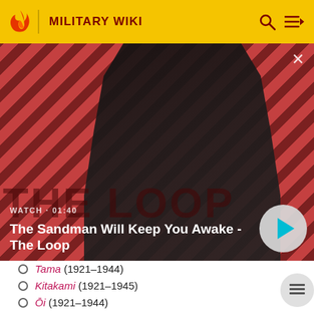MILITARY WIKI
[Figure (screenshot): Video thumbnail for 'The Sandman Will Keep You Awake - The Loop' with a dark-cloaked figure against a red diagonal-striped background, play button overlay. Duration shown: 01:40]
WATCH · 01:40
The Sandman Will Keep You Awake - The Loop
Tama (1921–1944)
Kitakami (1921–1945)
Ōi (1921–1944)
Kiso (1921–1944)
ex-German cruisers as prize of World War I